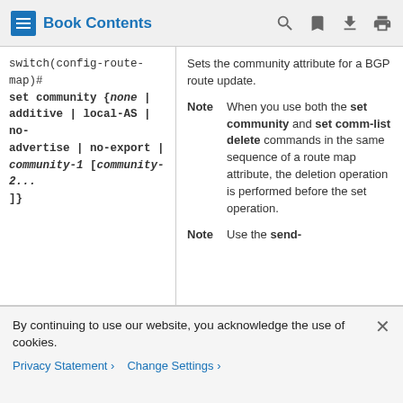Book Contents
| Command Syntax | Description |
| --- | --- |
| switch(config-route-map)# set community {none | additive | local-AS | no-advertise | no-export | community-1 [community-2...]} | Sets the community attribute for a BGP route update.
Note: When you use both the set community and set comm-list delete commands in the same sequence of a route map attribute, the deletion operation is performed before the set operation.
Note: Use the send- |
By continuing to use our website, you acknowledge the use of cookies.
Privacy Statement > Change Settings >